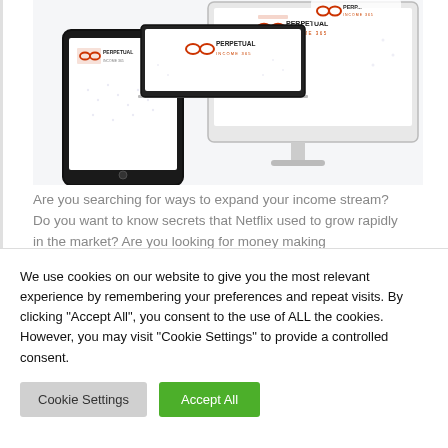[Figure (screenshot): Illustration of multiple devices (iMac desktop, tablet) displaying the 'Perpetual Income 365' branding and logo — an infinity symbol icon with the text PERPETUAL INCOME 365.]
Are you searching for ways to expand your income stream? Do you want to know secrets that Netflix used to grow rapidly in the market? Are you looking for money making opportunities on the internet? If yes
We use cookies on our website to give you the most relevant experience by remembering your preferences and repeat visits. By clicking "Accept All", you consent to the use of ALL the cookies. However, you may visit "Cookie Settings" to provide a controlled consent.